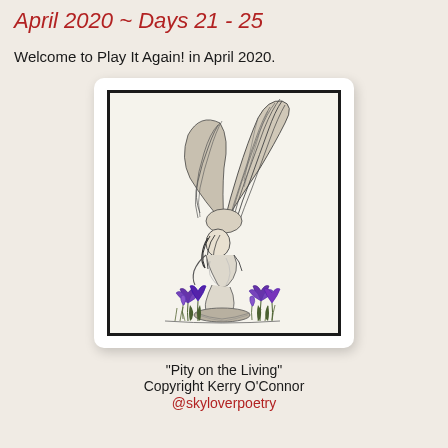April 2020 ~ Days 21 - 25
Welcome to Play It Again! in April 2020.
[Figure (illustration): Pen and ink illustration of a winged figure crouched low in grief, head bowed, large detailed wings spread upward. Purple crocus flowers surround the figure at ground level. Black and white artwork with purple color accents on the flowers.]
"Pity on the Living"
Copyright Kerry O'Connor
@skyloverpoetry